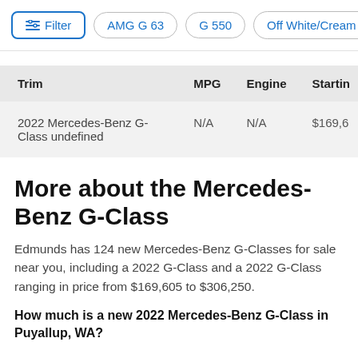Filter | AMG G 63 | G 550 | Off White/Cream Interi>
| Trim | MPG | Engine | Startin |
| --- | --- | --- | --- |
| 2022 Mercedes-Benz G-Class undefined | N/A | N/A | $169,6 |
More about the Mercedes-Benz G-Class
Edmunds has 124 new Mercedes-Benz G-Classes for sale near you, including a 2022 G-Class and a 2022 G-Class ranging in price from $169,605 to $306,250.
How much is a new 2022 Mercedes-Benz G-Class in Puyallup, WA?